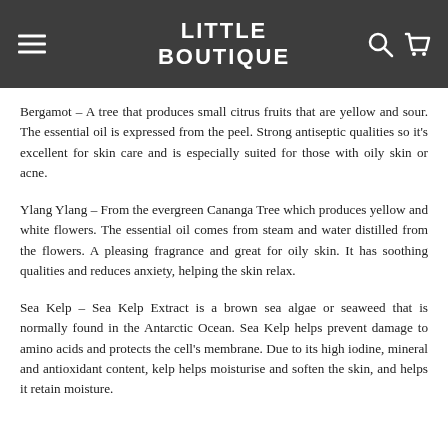LITTLE BOUTIQUE
Bergamot – A tree that produces small citrus fruits that are yellow and sour. The essential oil is expressed from the peel. Strong antiseptic qualities so it's excellent for skin care and is especially suited for those with oily skin or acne.
Ylang Ylang – From the evergreen Cananga Tree which produces yellow and white flowers. The essential oil comes from steam and water distilled from the flowers. A pleasing fragrance and great for oily skin. It has soothing qualities and reduces anxiety, helping the skin relax.
Sea Kelp – Sea Kelp Extract is a brown sea algae or seaweed that is normally found in the Antarctic Ocean. Sea Kelp helps prevent damage to amino acids and protects the cell's membrane. Due to its high iodine, mineral and antioxidant content, kelp helps moisturise and soften the skin, and helps it retain moisture.